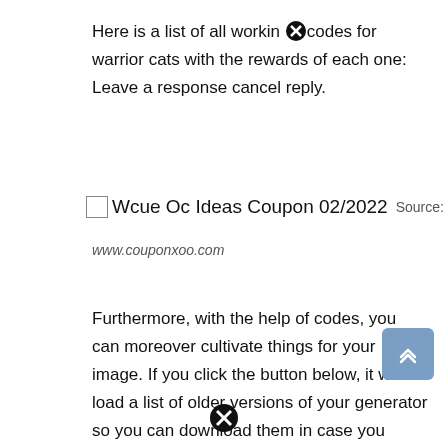Here is a list of all working codes for warrior cats with the rewards of each one: Leave a response cancel reply.
Wcue Oc Ideas Coupon 02/2022  Source:
www.couponxoo.com
Furthermore, with the help of codes, you can moreover cultivate things for your image. If you click the button below, it will load a list of older versions of your generator so you can download them in case you accidentally deleted your code, or there was a system error.